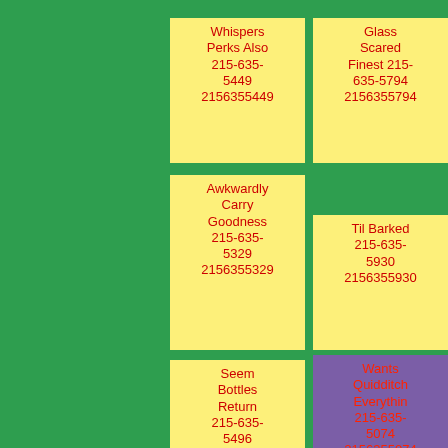Whispers Perks Also 215-635-5449 2156355449
Blazing Copy 215-635-5755 2156355755
Glass Scared Finest 215-635-5794 2156355794
Awkwardly Carry Goodness 215-635-5329 2156355329
Might 215-635-5618 2156355618
Til Barked 215-635-5930 2156355930
Seem Bottles Return 215-635-5496 2156355496
His 215-635-5384 2156355384
Wants Quidditch Everythin 215-635-5074 2156355074